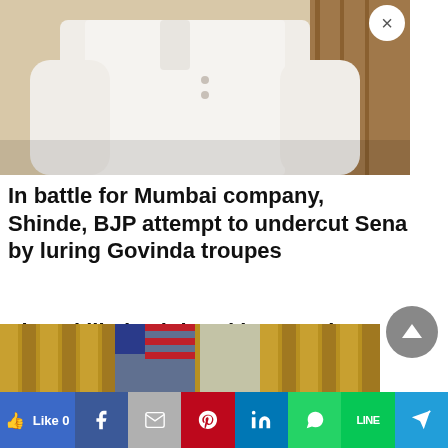[Figure (photo): Photo of a person wearing a white kurta/shirt, partially cropped, with a wooden background visible on the right. Close button (×) visible in upper right corner.]
In battle for Mumbai company, Shinde, BJP attempt to undercut Sena by luring Govinda troupes
Three killed, 6 injured in assault on Chinese kindergarten
[Figure (photo): Partial photo showing golden/yellow curtains and what appears to be an American flag, likely an official government setting.]